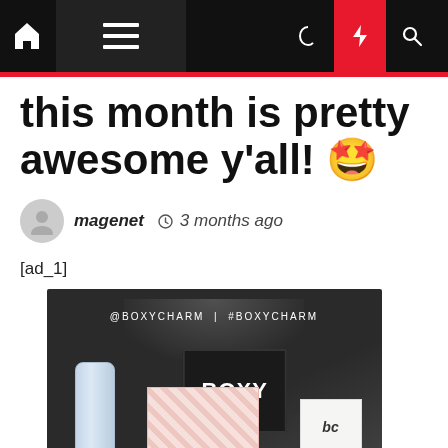Navigation bar with home, menu, dark mode, flash, and search icons
this month is pretty awesome y'all! 🤩
magenet  🕐 3 months ago
[ad_1]
[Figure (photo): Open BoxyCharm subscription box with '@BOXYCHARM | #BOXYCHARM' text on the lid, containing a blue tube, a pink striped box, and a white cosmetics box with 'bc' branding.]